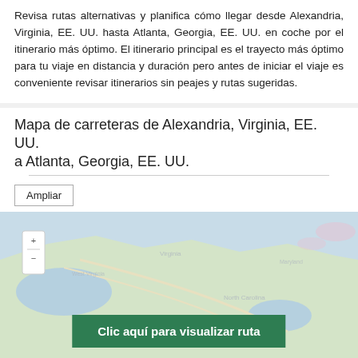Revisa rutas alternativas y planifica cómo llegar desde Alexandria, Virginia, EE. UU. hasta Atlanta, Georgia, EE. UU. en coche por el itinerario más óptimo. El itinerario principal es el trayecto más óptimo para tu viaje en distancia y duración pero antes de iniciar el viaje es conveniente revisar itinerarios sin peajes y rutas sugeridas.
Mapa de carreteras de Alexandria, Virginia, EE. UU. a Atlanta, Georgia, EE. UU.
[Figure (map): Road map showing route from Alexandria, Virginia, USA to Atlanta, Georgia, USA. A green button overlay reads 'Clic aquí para visualizar ruta'.]